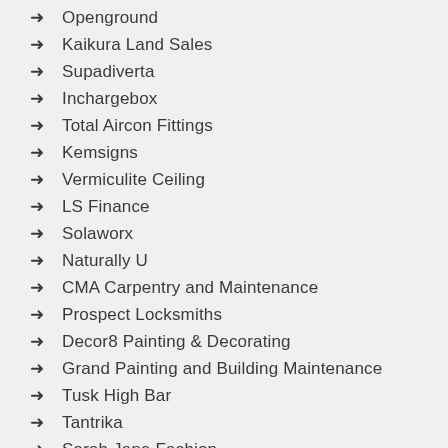Openground
Kaikura Land Sales
Supadiverta
Inchargebox
Total Aircon Fittings
Kemsigns
Vermiculite Ceiling
LS Finance
Solaworx
Naturally U
CMA Carpentry and Maintenance
Prospect Locksmiths
Decor8 Painting & Decorating
Grand Painting and Building Maintenance
Tusk High Bar
Tantrika
Sarah Jane Fashion